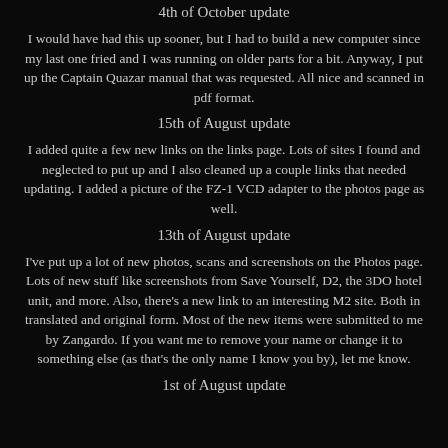4th of October update
I would have had this up sooner, but I had to build a new computer since my last one fried and I was running on older parts for a bit. Anyway, I put up the Captain Quazar manual that was requested. All nice and scanned in pdf format.
15th of August update
I added quite a few new links on the links page. Lots of sites I found and neglected to put up and I also cleaned up a couple links that needed updating. I added a picture of the FZ-1 VCD adapter to the photos page as well.
13th of August update
I've put up a lot of new photos, scans and screenshots on the Photos page. Lots of new stuff like screenshots from Save Yourself, D2, the 3DO hotel unit, and more. Also, there's a new link to an interesting M2 site. Both in translated and original form. Most of the new items were submitted to me by Zangardo. If you want me to remove your name or change it to something else (as that's the only name I know you by), let me know.
1st of August update